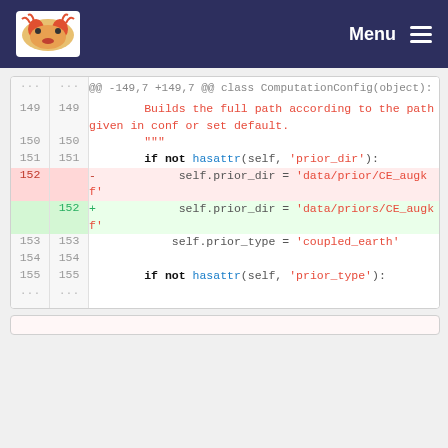Menu
[Figure (screenshot): Git diff view showing code change from 'data/prior/CE_augkf' to 'data/priors/CE_augkf' in a Python file, displayed in a web-based diff viewer with line numbers, deleted lines highlighted in red and added lines in green.]